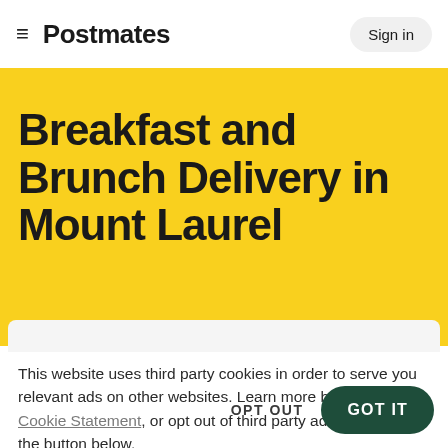≡ Postmates   Sign in
Breakfast and Brunch Delivery in Mount Laurel
This website uses third party cookies in order to serve you relevant ads on other websites. Learn more by visiting our Cookie Statement, or opt out of third party ad cookies using the button below.
OPT OUT   GOT IT